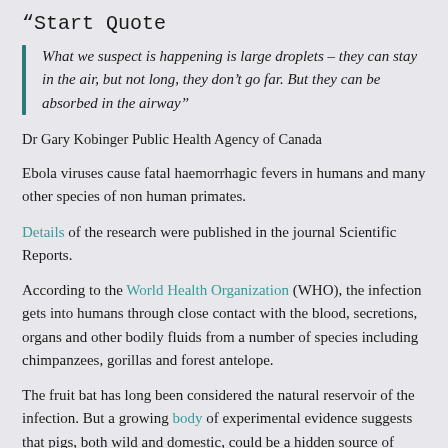“Start Quote
What we suspect is happening is large droplets – they can stay in the air, but not long, they don’t go far. But they can be absorbed in the airway”
Dr Gary Kobinger Public Health Agency of Canada
Ebola viruses cause fatal haemorrhagic fevers in humans and many other species of non human primates.
Details of the research were published in the journal Scientific Reports.
According to the World Health Organization (WHO), the infection gets into humans through close contact with the blood, secretions, organs and other bodily fluids from a number of species including chimpanzees, gorillas and forest antelope.
The fruit bat has long been considered the natural reservoir of the infection. But a growing body of experimental evidence suggests that pigs, both wild and domestic, could be a hidden source of Ebola Zaire – the most deadly